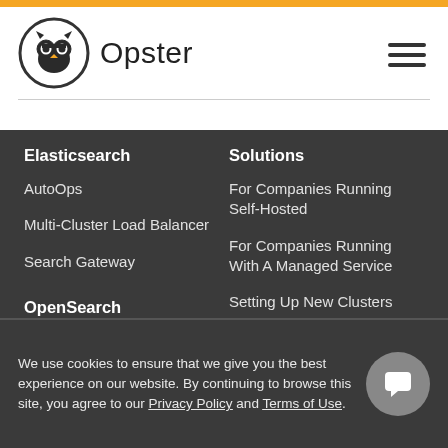Opster
Elasticsearch
AutoOps
Multi-Cluster Load Balancer
Search Gateway
OpenSearch
AutoOps
Solutions
For Companies Running Self-Hosted
For Companies Running With A Managed Service
Setting Up New Clusters
E-Commerce
Security Products
We use cookies to ensure that we give you the best experience on our website. By continuing to browse this site, you agree to our Privacy Policy and Terms of Use.